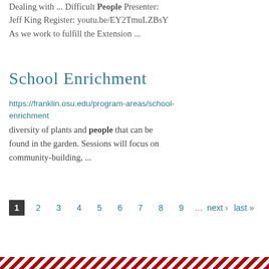(Recording) Tuesday, January 25, 2022 Dealing with ... Difficult People Presenter: Jeff King Register: youtu.be/EY2TmuLZBsY As we work to fulfill the Extension ...
School Enrichment
https://franklin.osu.edu/program-areas/school-enrichment
diversity of plants and people that can be found in the garden. Sessions will focus on community-building, ...
1 2 3 4 5 6 7 8 9 …next › last »